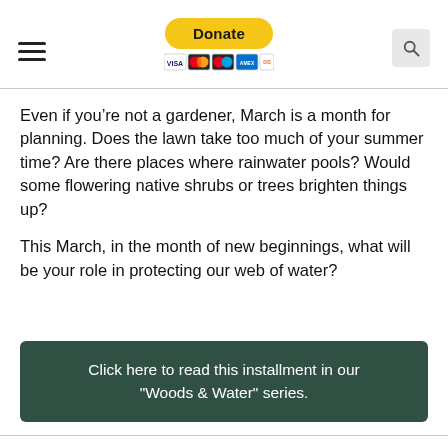[Figure (other): Website header with hamburger menu icon on left, PayPal Donate button with payment card icons in center, and search icon on right]
Even if you’re not a gardener, March is a month for planning. Does the lawn take too much of your summer time? Are there places where rainwater pools? Would some flowering native shrubs or trees brighten things up?
This March, in the month of new beginnings, what will be your role in protecting our web of water?
Click here to read this installment in our "Woods & Water" series.